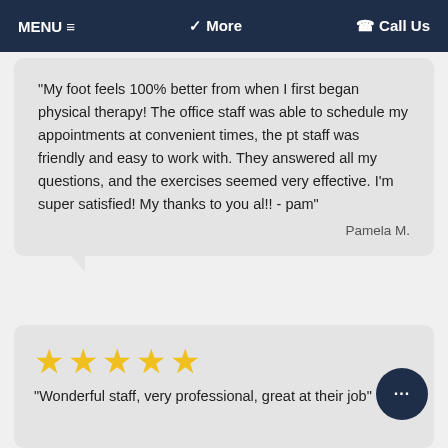MENU ≡   ✓ More   ☎ Call Us
"My foot feels 100% better from when I first began physical therapy! The office staff was able to schedule my appointments at convenient times, the pt staff was friendly and easy to work with. They answered all my questions, and the exercises seemed very effective. I'm super satisfied! My thanks to you al!! - pam"
Pamela M.
[Figure (other): Five yellow star rating icons]
"Wonderful staff, very professional, great at their job"